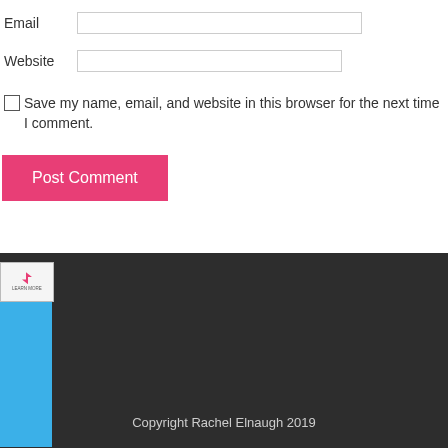Email
Website
Save my name, email, and website in this browser for the next time I comment.
Post Comment
[Figure (screenshot): Akismet plugin or ad image, small thumbnail with blue background and Flash-style icon]
site uses Akismet to reduce spam. Learn how your comment is processed.
Copyright Rachel Elnaugh 2019